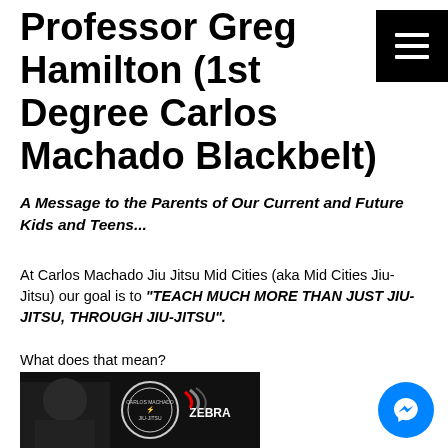Professor Greg Hamilton (1st Degree Carlos Machado Blackbelt)
A Message to the Parents of Our Current and Future Kids and Teens...
At Carlos Machado Jiu Jitsu Mid Cities (aka Mid Cities Jiu-Jitsu) our goal is to "TEACH MUCH MORE THAN JUST JIU-JITSU, THROUGH JIU-JITSU".
What does that mean?
[Figure (photo): Photo of Professor Greg Hamilton standing in front of Carlos Machado Jiu-Jitsu and Zebra logos]